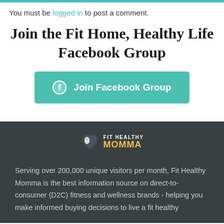You must be logged in to post a comment.
Join the Fit Home, Healthy Life Facebook Group
[Figure (other): Green button with Facebook icon and text 'Join Facebook Group']
[Figure (logo): Fit Healthy Momma logo with heart icon and yellow MOMMA text on dark background]
Serving over 200,000 unique visitors per month, Fit Healthy Momma is the best information source on direct-to-consumer (D2C) fitness and wellness brands - helping you make informed buying decisions to live a fit healthy